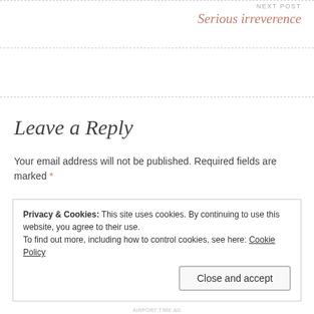NEXT POST
Serious irreverence
Leave a Reply
Your email address will not be published. Required fields are marked *
Privacy & Cookies: This site uses cookies. By continuing to use this website, you agree to their use.
To find out more, including how to control cookies, see here: Cookie Policy
Close and accept
AIRPORT TIME AG